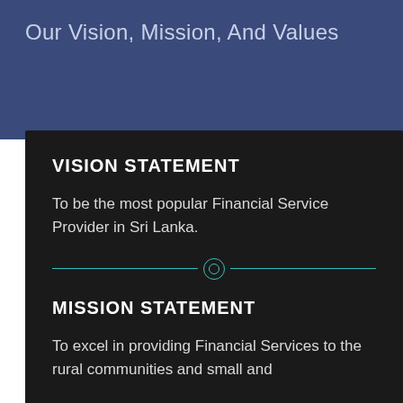Our Vision, Mission, And Values
VISION STATEMENT
To be the most popular Financial Service Provider in Sri Lanka.
MISSION STATEMENT
To excel in providing Financial Services to the rural communities and small and